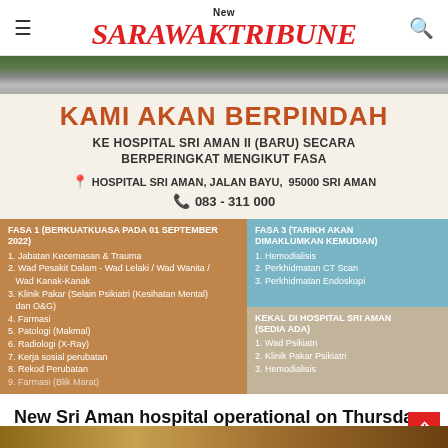New SarawakTribune
[Figure (photo): Aerial/road view of a road leading to hospital area, green grass and tarmac visible]
[Figure (infographic): Hospital relocation announcement notice in Malay. KAMI AKAN BERPINDAH KE HOSPITAL SRI AMAN II (BARU) SECARA BERPERINGKAT MENGIKUT FASA. Location: HOSPITAL SRI AMAN, JALAN BAYU, 95000 SRI AMAN. Phone: 083-311 000. FASA 1 (BERKUATKUASA PADA 01 SEPTEMBER 2022): 1. Jabatan Kecemasan & Trauma 2. Wad Pesakit Dalam - Wad Lelaki / Wad Wanita / Wad Kanak-Kanak 3. Klinik Pakar (Selain Psikiatri (Kesihatan Mental) dan O&G) 4. Farmasi 5. Patologi (Makmal) 6. Radiologi (X-Ray) 7. Kerja sosial perubatan 8. Rekod Perubatan. FASA 3 (TARIKH AKAN DIMAKLUMKAN KEMUDIAN): 1. Hemodialisis 2. Perkhidmatan CT Scan 3. Perkhidmatan Endoskopi. KEKAL DI HOSPITAL SRI AMAN (SEDIA ADA): 1. Wad Psikiatri 2. Klinik Pakar Psikiatri 3. Hemodialisis]
New Sri Aman hospital operational on Thursday
Annabell Naja Tommy - August 30, 2022